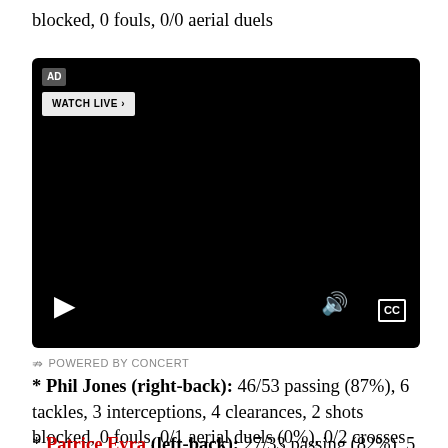blocked, 0 fouls, 0/0 aerial duels
[Figure (screenshot): Black video player with AD badge, WATCH LIVE button, play button, volume icon, and CC button. Powered by Concert caption below.]
POWERED BY CONCERT
* Phil Jones (right-back): 46/53 passing (87%), 6 tackles, 3 interceptions, 4 clearances, 2 shots blocked, 0 fouls, 0/1 aerial duels (0%), 0/2 crosses
* Patrice Evra (left-back): 27/33 passing (82%), 5